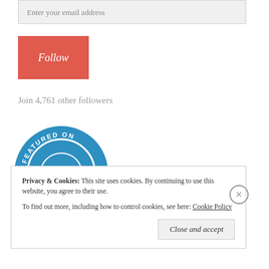Enter your email address
[Figure (illustration): Red Follow button]
Join 4,761 other followers
[Figure (logo): Featured on WordPress circular badge in blue with WordPress W logo and hearts]
Privacy & Cookies: This site uses cookies. By continuing to use this website, you agree to their use. To find out more, including how to control cookies, see here: Cookie Policy
Close and accept